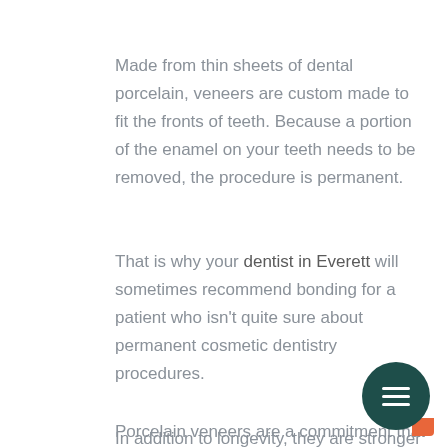Made from thin sheets of dental porcelain, veneers are custom made to fit the fronts of teeth. Because a portion of the enamel on your teeth needs to be removed, the procedure is permanent.
That is why your dentist in Everett will sometimes recommend bonding for a patient who isn't quite sure about permanent cosmetic dentistry procedures.
Porcelain veneers are a commitment that really is worth it. If you decide to proceed, you will need two dental appointments to complete the procedure. Dental bonding only takes one dental visit to complete.
In addition to longevity, they are stronger as